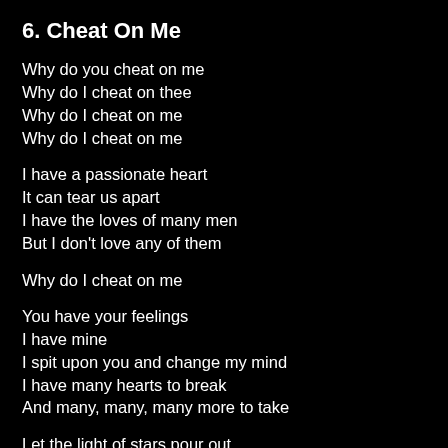6. Cheat On Me
Why do you cheat on me
Why do I cheat on thee
Why do I cheat on me
Why do I cheat on me
I have a passionate heart
It can tear us apart
I have the loves of many men
But I don't love any of them
Why do I cheat on me
You have your feelings
I have mine
I spit upon you and change my mind
I have many hearts to break
And many, many, many more to take
Let the light of stars pour out
Like a candle in a spout
Let the wick recede and break
Let the starlight radiate
Why do you cheat on me